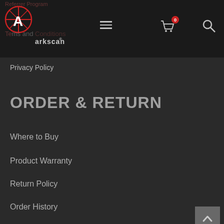Arkscan - navigation header with logo, menu, cart, and search icons
Privacy Policy
ORDER & RETURN
Where to Buy
Product Warranty
Return Policy
Order History
MOST POPULAR